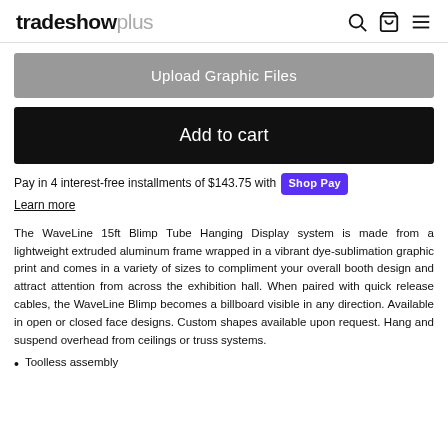tradeshowplus
Upload Graphic Files
Add to cart
Pay in 4 interest-free installments of $143.75 with Shop Pay
Learn more
The WaveLine 15ft Blimp Tube Hanging Display system is made from a lightweight extruded aluminum frame wrapped in a vibrant dye-sublimation graphic print and comes in a variety of sizes to compliment your overall booth design and attract attention from across the exhibition hall. When paired with quick release cables, the WaveLine Blimp becomes a billboard visible in any direction. Available in open or closed face designs. Custom shapes available upon request. Hang and suspend overhead from ceilings or truss systems.
Toolless assembly